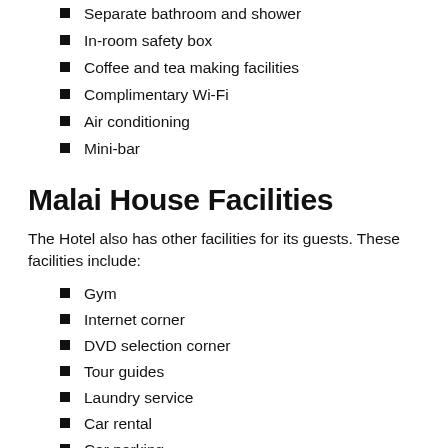Separate bathroom and shower
In-room safety box
Coffee and tea making facilities
Complimentary Wi-Fi
Air conditioning
Mini-bar
Malai House Facilities
The Hotel also has other facilities for its guests. These facilities include:
Gym
Internet corner
DVD selection corner
Tour guides
Laundry service
Car rental
Car parking
24-hour reception